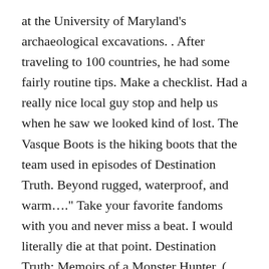at the University of Maryland's archaeological excavations. . After traveling to 100 countries, he had some fairly routine tips. Make a checklist. Had a really nice local guy stop and help us when he saw we looked kind of lost. The Vasque Boots is the hiking boots that the team used in episodes of Destination Truth. Beyond rugged, waterproof, and warm…." Take your favorite fandoms with you and never miss a beat. I would literally die at that point. Destination Truth: Memoirs of a Monster Hunter, ( Why has no one else reacted on this? Source: Twimg.com. Josh holds degrees from Tufts University in archaeology and drama, and was recently inducted into The Explorers Club, a prestigious organization dedicated to the advancement of exploration and field research. Bleecker. We check in with frequent fliers to find out how often they fly, their favorite destinations and what… Chase, American Express, and